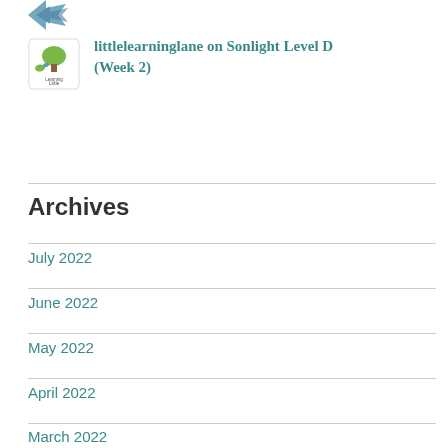[Figure (logo): Decorative logo/icon at top left of page, blue/teal arrow or bird motif]
littlelearninglane on Sonlight Level D (Week 2)
Archives
July 2022
June 2022
May 2022
April 2022
March 2022